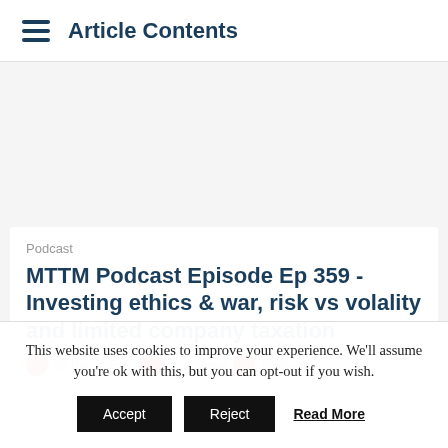Article Contents
Podcast
MTTM Podcast Episode Ep 359 - Investing ethics & war, risk vs volality and limited company taxation
This website uses cookies to improve your experience. We'll assume you're ok with this, but you can opt-out if you wish.
Accept  Reject  Read More